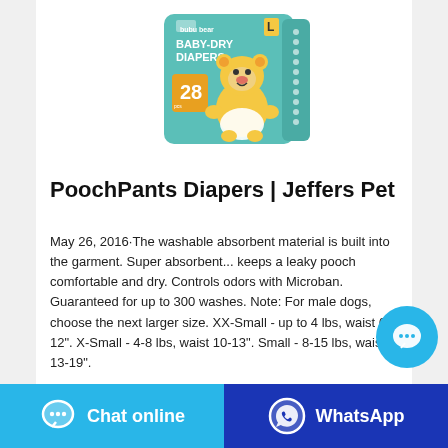[Figure (photo): Product image of bubu bear Baby-Dry Diapers package, teal/green packaging with cartoon bear character, showing size '28' and 'L' size designation]
PoochPants Diapers | Jeffers Pet
May 26, 2016·The washable absorbent material is built into the garment. Super absorbent... keeps a leaky pooch comfortable and dry. Controls odors with Microban. Guaranteed for up to 300 washes. Note: For male dogs, choose the next larger size. XX-Small - up to 4 lbs, waist 6-12". X-Small - 4-8 lbs, waist 10-13". Small - 8-15 lbs, waist 13-19".
[Figure (other): Floating chat bubble button (blue circle with three dots)]
Chat online
WhatsApp